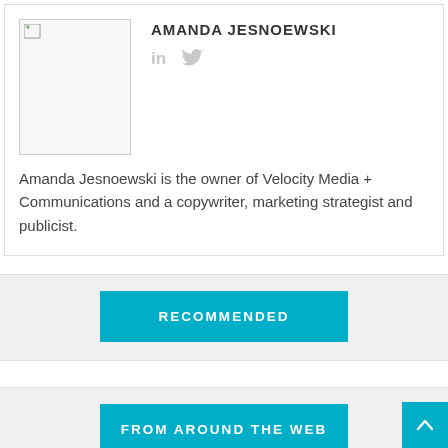[Figure (photo): Broken/placeholder image in author card]
AMANDA JESNOEWSKI
[Figure (infographic): LinkedIn and Twitter social media icons in gray]
Amanda Jesnoewski is the owner of Velocity Media + Communications and a copywriter, marketing strategist and publicist.
RECOMMENDED
FROM AROUND THE WEB